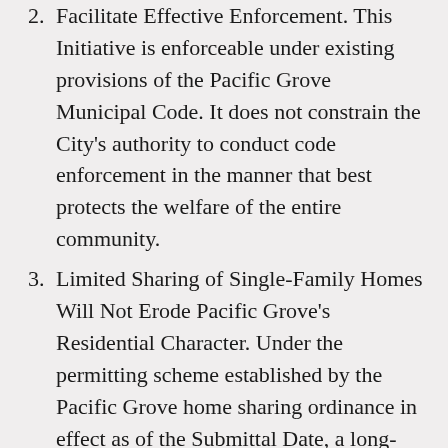Facilitate Effective Enforcement. This Initiative is enforceable under existing provisions of the Pacific Grove Municipal Code. It does not constrain the City's authority to conduct code enforcement in the manner that best protects the welfare of the entire community.
Limited Sharing of Single-Family Homes Will Not Erode Pacific Grove's Residential Character. Under the permitting scheme established by the Pacific Grove home sharing ordinance in effect as of the Submittal Date, a long-term resident may rent one or two rooms in a single-family home to a maximum of two adults and two children, while the long-term resident also